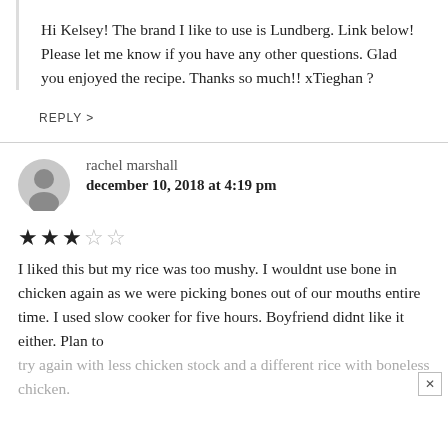Hi Kelsey! The brand I like to use is Lundberg. Link below! Please let me know if you have any other questions. Glad you enjoyed the recipe. Thanks so much!! xTieghan ?
REPLY >
rachel marshall
december 10, 2018 at 4:19 pm
[Figure (other): Generic user avatar — gray circle with person silhouette]
★★★☆☆ (3 out of 5 stars)
I liked this but my rice was too mushy. I wouldnt use bone in chicken again as we were picking bones out of our mouths entire time. I used slow cooker for five hours. Boyfriend didnt like it either. Plan to try again with less chicken stock and a different rice with boneless chicken.